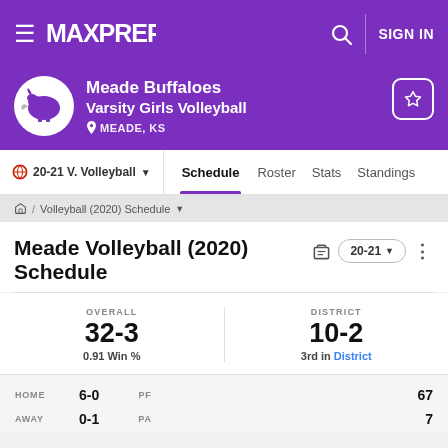MaxPreps — Meade Buffaloes Varsity Girls Volleyball — MEADE, KS
Meade Volleyball (2020) Schedule
Schedule  Roster  Stats  Standings
Volleyball (2020) Schedule
OVERALL 32-3  0.91 Win %
DISTRICT 10-2  3rd in District
|  | Record | Category | Value |
| --- | --- | --- | --- |
| HOME | 6-0 | PF | 67 |
| AWAY | 0-1 | PA | 7 |